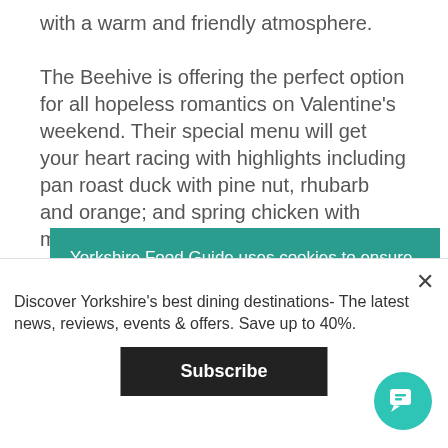with a warm and friendly atmosphere.

The Beehive is offering the perfect option for all hopeless romantics on Valentine's weekend. Their special menu will get your heart racing with highlights including pan roast duck with pine nut, rhubarb and orange; and spring chicken with mushroom and potato en croute and c... c... &...
Yorkshire Food Guide uses cookies to ensure you get the best experience on our website. by clicking 'Got it', you accept our
Discover Yorkshire's best dining destinations- The latest news, reviews, events & offers. Save up to 40%.
Subscribe